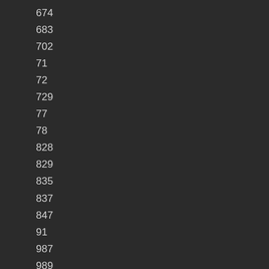674
683
702
71
72
729
77
78
828
829
835
837
847
91
987
989
990